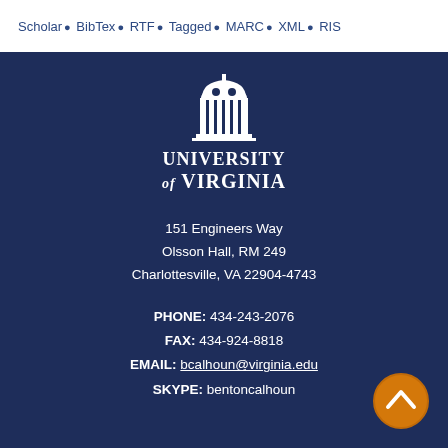Scholar • BibTex • RTF • Tagged • MARC • XML • RIS
[Figure (logo): University of Virginia logo with rotunda building icon above the text 'University of Virginia']
151 Engineers Way
Olsson Hall, RM 249
Charlottesville, VA 22904-4743
PHONE: 434-243-2076
FAX: 434-924-8818
EMAIL: bcalhoun@virginia.edu
SKYPE: bentoncalhoun